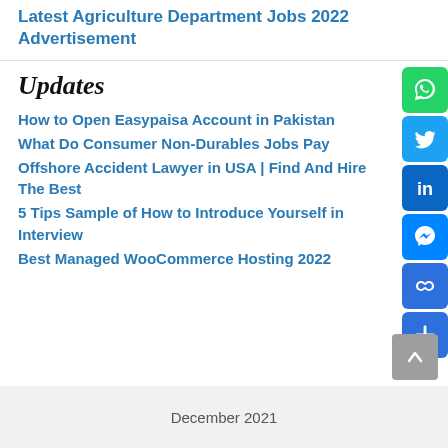Latest Agriculture Department Jobs 2022 Advertisement
How to Open Easypaisa Account in Pakistan
What Do Consumer Non-Durables Jobs Pay
Offshore Accident Lawyer in USA | Find And Hire The Best
5 Tips Sample of How to Introduce Yourself in Interview
Best Managed WooCommerce Hosting 2022
December 2021